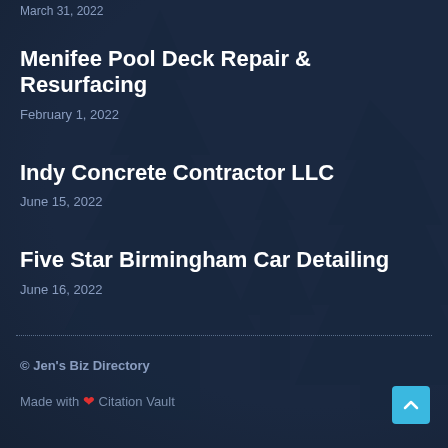March 31, 2022
Menifee Pool Deck Repair & Resurfacing
February 1, 2022
Indy Concrete Contractor LLC
June 15, 2022
Five Star Birmingham Car Detailing
June 16, 2022
© Jen's Biz Directory
Made with ❤ Citation Vault